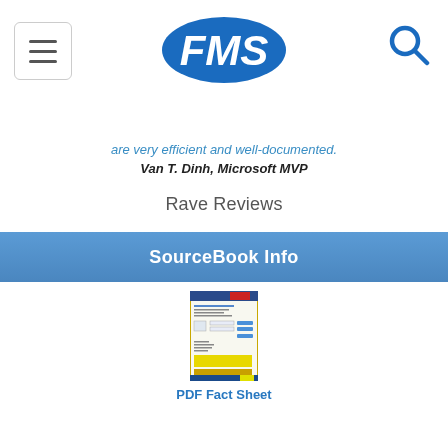FMS logo with hamburger menu and search icon
are very efficient and well-documented.
Van T. Dinh, Microsoft MVP
Rave Reviews
SourceBook Info
[Figure (screenshot): PDF Fact Sheet thumbnail image showing a document page]
PDF Fact Sheet
Overview & Screenshots
Code Categories
Complete Module List
Sample Code